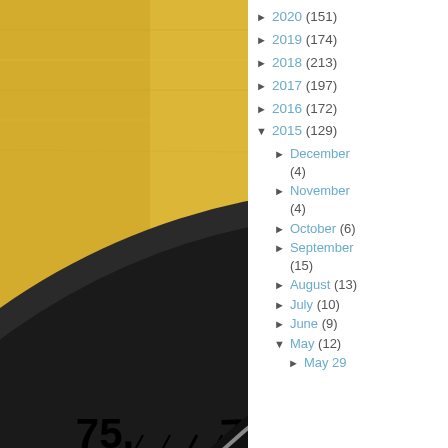[Figure (photo): Close-up photo of a gold Rolex watch face showing the bezel with numbers 65, 70, 75 and the black dial with red hands and crown/SUPER inscription visible]
► 2020 (151)
► 2019 (174)
► 2018 (213)
► 2017 (197)
► 2016 (172)
▼ 2015 (129)
► December (4)
► November (4)
► October (6)
► September (15)
► August (13)
► July (10)
► June (9)
▼ May (12)
► May 29